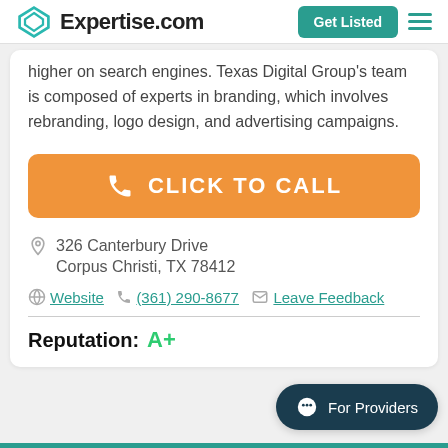Expertise.com | Get Listed
higher on search engines. Texas Digital Group's team is composed of experts in branding, which involves rebranding, logo design, and advertising campaigns.
CLICK TO CALL
326 Canterbury Drive
Corpus Christi, TX 78412
Website  (361) 290-8677  Leave Feedback
Reputation:  A+
For Providers